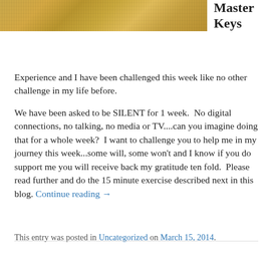[Figure (photo): A photo of a golden wheat or grass field, cropped to a wide horizontal banner.]
Master Keys
Experience and I have been challenged this week like no other challenge in my life before.
We have been asked to be SILENT for 1 week.  No digital connections, no talking, no media or TV....can you imagine doing that for a whole week?  I want to challenge you to help me in my journey this week...some will, some won't and I know if you do support me you will receive back my gratitude ten fold.  Please read further and do the 15 minute exercise described next in this blog. Continue reading →
This entry was posted in Uncategorized on March 15, 2014.